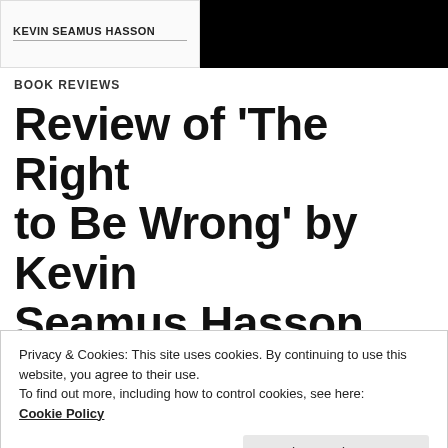KEVIN SEAMUS HASSON
BOOK REVIEWS
Review of ‘The Right to Be Wrong’ by Kevin Seamus Hasson
Kevin Seamus Hasson,
Privacy & Cookies: This site uses cookies. By continuing to use this website, you agree to their use.
To find out more, including how to control cookies, see here:
Cookie Policy
Close and accept
[Figure (illustration): Row of religious symbols: Om, Star of David, US flag, Christian cross, Crescent moon]